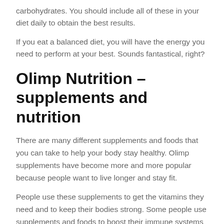carbohydrates. You should include all of these in your diet daily to obtain the best results.
If you eat a balanced diet, you will have the energy you need to perform at your best. Sounds fantastical, right?
Olimp Nutrition - supplements and nutrition
There are many different supplements and foods that you can take to help your body stay healthy. Olimp supplements have become more and more popular because people want to live longer and stay fit.
People use these supplements to get the vitamins they need and to keep their bodies strong. Some people use supplements and foods to boost their immune systems to avoid getting sick as often.
Olimp Nutrition supplements are not standard; we have a